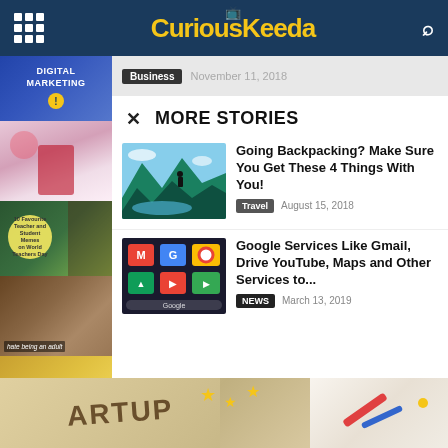CuriousKeeda
Business   November 11, 2018
MORE STORIES
Going Backpacking? Make Sure You Get These 4 Things With You!
Travel   August 15, 2018
Google Services Like Gmail, Drive YouTube, Maps and Other Services to...
NEWS   March 13, 2019